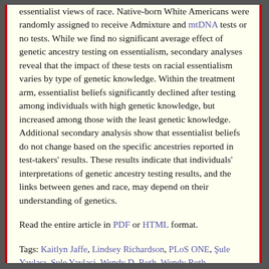essentialist views of race. Native-born White Americans were randomly assigned to receive Admixture and mtDNA tests or no tests. While we find no significant average effect of genetic ancestry testing on essentialism, secondary analyses reveal that the impact of these tests on racial essentialism varies by type of genetic knowledge. Within the treatment arm, essentialist beliefs significantly declined after testing among individuals with high genetic knowledge, but increased among those with the least genetic knowledge. Additional secondary analysis show that essentialist beliefs do not change based on the specific ancestries reported in test-takers' results. These results indicate that individuals' interpretations of genetic ancestry testing results, and the links between genes and race, may depend on their understanding of genetics.
Read the entire article in PDF or HTML format.
Tags: Kaitlyn Jaffe, Lindsey Richardson, PLoS ONE, Şule Yaylacı, Sule Yaylaci, Wendy D. Roth, Wendy Roth